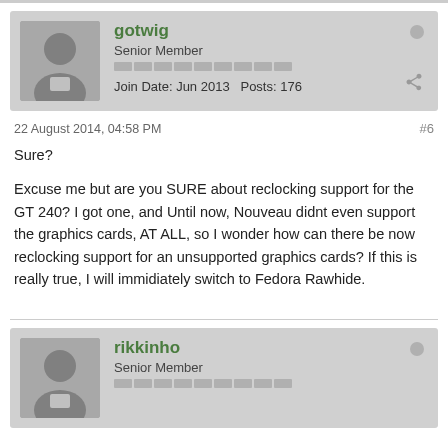gotwig
Senior Member
Join Date: Jun 2013  Posts: 176
22 August 2014, 04:58 PM
#6
Sure?
Excuse me but are you SURE about reclocking support for the GT 240? I got one, and Until now, Nouveau didnt even support the graphics cards, AT ALL, so I wonder how can there be now reclocking support for an unsupported graphics cards? If this is really true, I will immidiately switch to Fedora Rawhide.
rikkinho
Senior Member